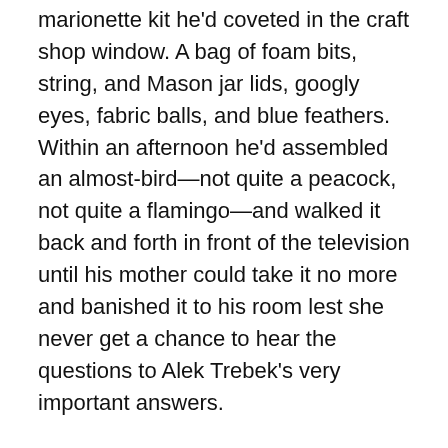marionette kit he'd coveted in the craft shop window. A bag of foam bits, string, and Mason jar lids, googly eyes, fabric balls, and blue feathers. Within an afternoon he'd assembled an almost-bird—not quite a peacock, not quite a flamingo—and walked it back and forth in front of the television until his mother could take it no more and banished it to his room lest she never get a chance to hear the questions to Alek Trebek's very important answers.
Last fall his mother had dropped him off here, signed him up at the local school, and sent him an Amazon gift card at Christmas time. He'd bought himself a sweater as he imagined a boy in a normal family might get a nice sweater from Santa on Christmas morning.
Go ahead and take another piece, Janis.
♦